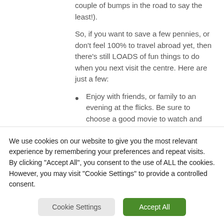couple of bumps in the road to say the least!).
So, if you want to save a few pennies, or don't feel 100% to travel abroad yet, then there's still LOADS of fun things to do when you next visit the centre. Here are just a few:
Enjoy with friends, or family to an evening at the flicks. Be sure to choose a good movie to watch and grab those essential snacks from Tesco or healthier bits from
We use cookies on our website to give you the most relevant experience by remembering your preferences and repeat visits. By clicking “Accept All”, you consent to the use of ALL the cookies. However, you may visit "Cookie Settings" to provide a controlled consent.